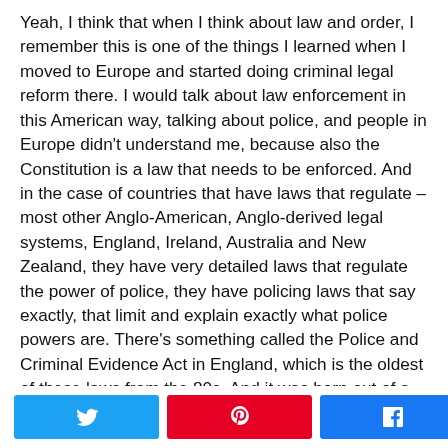Yeah, I think that when I think about law and order, I remember this is one of the things I learned when I moved to Europe and started doing criminal legal reform there. I would talk about law enforcement in this American way, talking about police, and people in Europe didn't understand me, because also the Constitution is a law that needs to be enforced. And in the case of countries that have laws that regulate – most other Anglo-American, Anglo-derived legal systems, England, Ireland, Australia and New Zealand, they have very detailed laws that regulate the power of police, they have policing laws that say exactly, that limit and explain exactly what police powers are. There's something called the Police and Criminal Evidence Act in England, which is the oldest of these laws from the 80s. And it was born out of a number of miscarriages of justice that happened in England, in the context of a conflict with Ireland, of the independence movement in Ireland, and arrests
[Figure (other): Social share bar with Twitter, Pinterest, and Facebook buttons, plus a share count showing 0 SHARES]